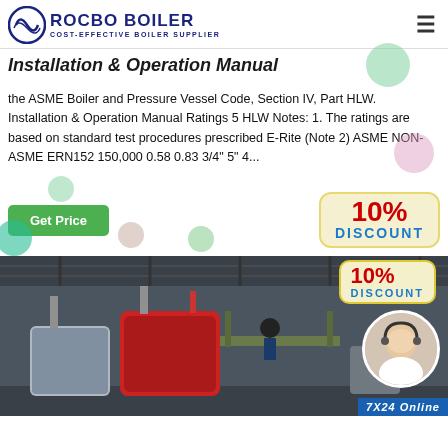ROCBO BOILER - COST-EFFECTIVE BOILER SUPPLIER
Installation & Operation Manual
the ASME Boiler and Pressure Vessel Code, Section IV, Part HLW. Installation & Operation Manual Ratings 5 HLW Notes: 1. The ratings are based on standard test procedures prescribed E-Rite (Note 2) ASME NON-ASME ERN152 150,000 0.58 0.83 3/4" 5" 4...
[Figure (photo): Industrial boiler installation in a warehouse/factory setting, with a customer service agent overlay in a circular frame, and '7X24 Online' text at the bottom right. A '10% DISCOUNT' badge is visible in the upper right.]